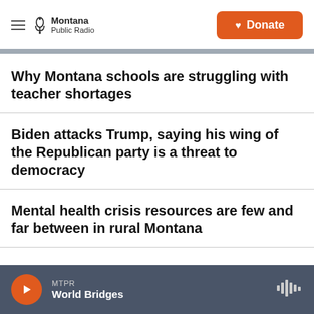Montana Public Radio — Donate
Why Montana schools are struggling with teacher shortages
Biden attacks Trump, saying his wing of the Republican party is a threat to democracy
Mental health crisis resources are few and far between in rural Montana
MTPR World Bridges